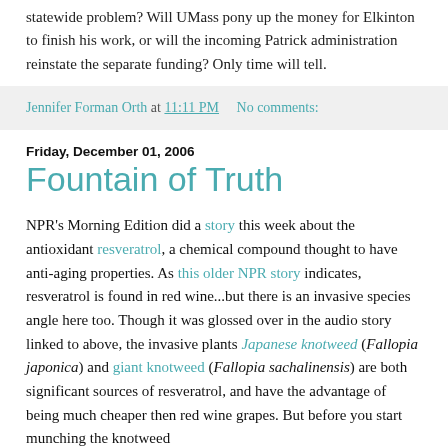statewide problem? Will UMass pony up the money for Elkinton to finish his work, or will the incoming Patrick administration reinstate the separate funding? Only time will tell.
Jennifer Forman Orth at 11:11 PM   No comments:
Friday, December 01, 2006
Fountain of Truth
NPR's Morning Edition did a story this week about the antioxidant resveratrol, a chemical compound thought to have anti-aging properties. As this older NPR story indicates, resveratrol is found in red wine...but there is an invasive species angle here too. Though it was glossed over in the audio story linked to above, the invasive plants Japanese knotweed (Fallopia japonica) and giant knotweed (Fallopia sachalinensis) are both significant sources of resveratrol, and have the advantage of being much cheaper then red wine grapes. But before you start munching the knotweed